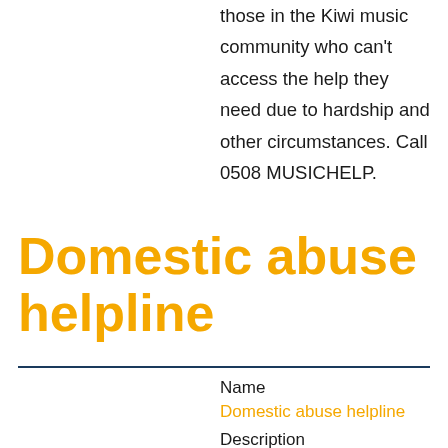those in the Kiwi music community who can't access the help they need due to hardship and other circumstances. Call 0508 MUSICHELP.
Domestic abuse helpline
| Field | Value |
| --- | --- |
| Name |  |
|  | Domestic abuse helpline |
| Description |  |